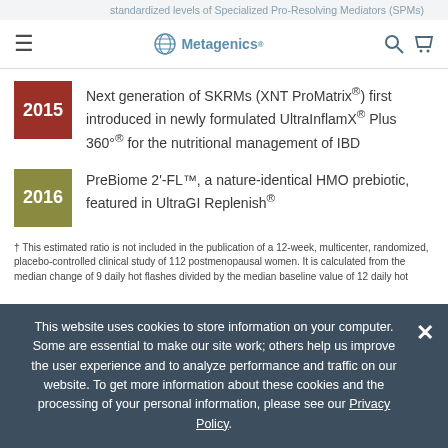standardized levels of Specialized Pro-Resolving Mediators (SPMs)
☰   Metagenics   🔍  🛒
2015 — Next generation of SKRMs (XNT ProMatrix®) first introduced in newly formulated UltraInflamX® Plus 360°® for the nutritional management of IBD
2016 — PreBiome 2'-FL™, a nature-identical HMO prebiotic, featured in UltraGI Replenish®
† This estimated ratio is not included in the publication of a 12-week, multicenter, randomized, placebo-controlled clinical study of 112 postmenopausal women. It is calculated from the median change of 9 daily hot flashes divided by the median baseline value of 12 daily hot
This website uses cookies to store information on your computer. Some are essential to make our site work; others help us improve the user experience and to analyze performance and traffic on our website. To get more information about these cookies and the processing of your personal information, please see our Privacy Policy.